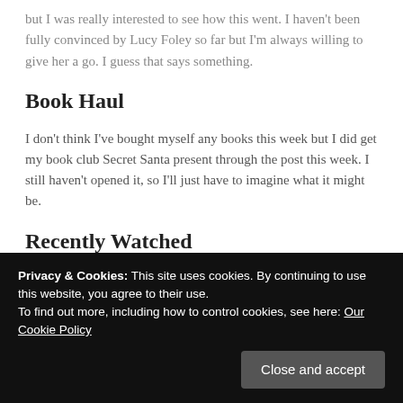but I was really interested to see how this went. I haven't been fully convinced by Lucy Foley so far but I'm always willing to give her a go. I guess that says something.
Book Haul
I don't think I've bought myself any books this week but I did get my book club Secret Santa present through the post this week. I still haven't opened it, so I'll just have to imagine what it might be.
Recently Watched
TV:
Dr Who: Flux – I didn't bother watching this when it was actually on TV, so I binge watched it all on Friday morning. To be
Privacy & Cookies: This site uses cookies. By continuing to use this website, you agree to their use.
To find out more, including how to control cookies, see here: Our Cookie Policy